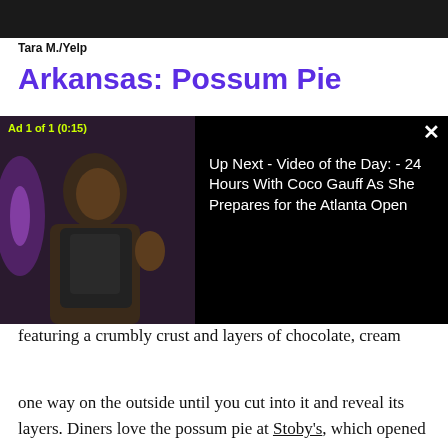[Figure (photo): Dark/black banner image at top of page, likely a food photo partially cropped]
Tara M./Yelp
Arkansas: Possum Pie
Best place to try it: Stoby's Restaurant in Conway and Russellville
Runner up: Fried pies from Morrison's fried Pies in Hot Springs
Possum pie, invented in Arkansas, is a multi-layer pie featuring a crumbly crust and layers of chocolate, cream
[Figure (screenshot): Video ad overlay: 'Ad 1 of 1 (0:15)' label, video thumbnail showing a person, text reading 'Up Next - Video of the Day: - 24 Hours With Coco Gauff As She Prepares for the Atlanta Open', close button X]
one way on the outside until you cut into it and reveal its layers. Diners love the possum pie at Stoby's, which opened